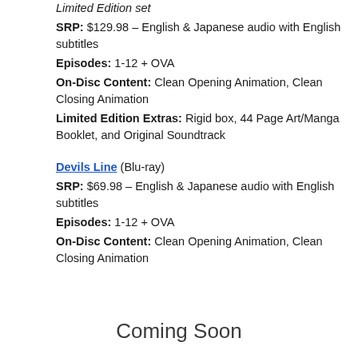Limited Edition set
SRP: $129.98 – English & Japanese audio with English subtitles
Episodes: 1-12 + OVA
On-Disc Content: Clean Opening Animation, Clean Closing Animation
Limited Edition Extras: Rigid box, 44 Page Art/Manga Booklet, and Original Soundtrack
Devils Line (Blu-ray)
SRP: $69.98 – English & Japanese audio with English subtitles
Episodes: 1-12 + OVA
On-Disc Content: Clean Opening Animation, Clean Closing Animation
Coming Soon